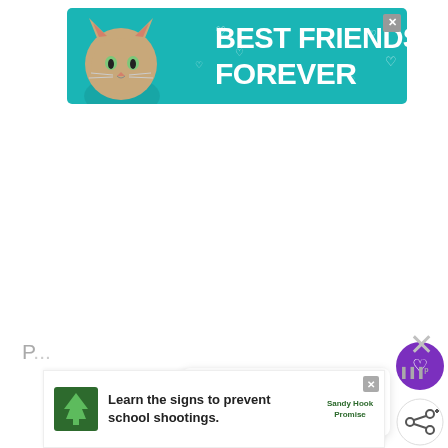[Figure (other): Advertisement banner with teal background showing a cat and text 'BEST FRIENDS FOREVER' with heart graphics. Close button in top right.]
[Figure (other): Floating purple circular like/heart button on the right side of the page.]
[Figure (other): Floating white circular share button on the right side of the page.]
[Figure (other): What's Next card showing '332 July Social Media...' with a purple circular thumbnail and logo.]
[Figure (other): Bottom advertisement banner: 'Learn the signs to prevent school shootings.' Sandy Hook Promise ad with tree logo.]